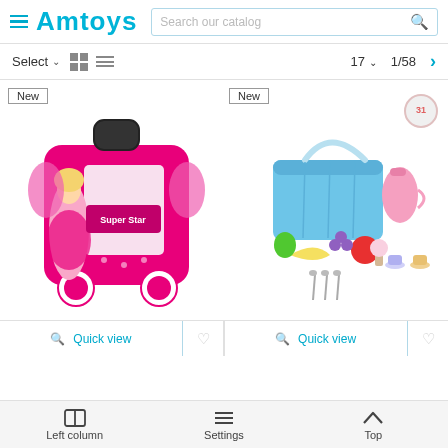Amtoys — Search our catalog
Select  17  1/58 >
[Figure (photo): Pink toy makeup suitcase on wheels with a cartoon girl printed on it, labeled 'Super Star' and 'Make Up Time', with the badge 'New']
[Figure (photo): Colorful toy set including a blue basket, plastic fruits, tea set cups and utensils, with a badge showing '31' pieces and labeled 'New']
Quick view   Quick view
Left column   Settings   Top